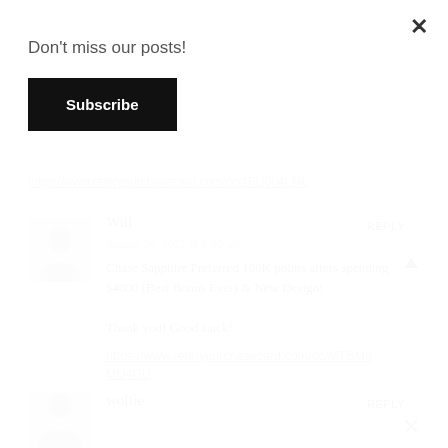Don't miss our posts!
Subscribe
https://www.referyourchasecard.com/6c/1FLj004LML
Will
August 28, 2021 at 8:50 am
Chase Sapphire Preferred 100K points afters spending $4000 (Best Bonus Ever) & New Design!

Thank you! Good Luck!
https://www.referyourchasecard.com/6c/MTSM6MU4GU
wolfie
REPLY
REPLY